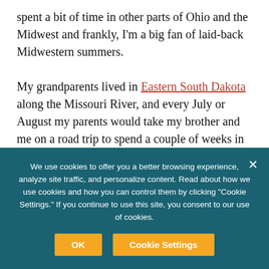spent a bit of time in other parts of Ohio and the Midwest and frankly, I'm a big fan of laid-back Midwestern summers.

My grandparents lived in Eastern South Dakota along the Missouri River, and every July or August my parents would take my brother and me on a road trip to spend a couple of weeks in Yankton and Vermillion, South Dakota.  To this day, I can still remember the enveloping heat of the heavy, humid air and the rich smell of dark fertile soil in fields of 7-foot tall stalks of sweet corn. Not a lot of that in Wyoming where I
We use cookies to offer you a better browsing experience, analyze site traffic, and personalize content. Read about how we use cookies and how you can control them by clicking "Cookie Settings." If you continue to use this site, you consent to our use of cookies.